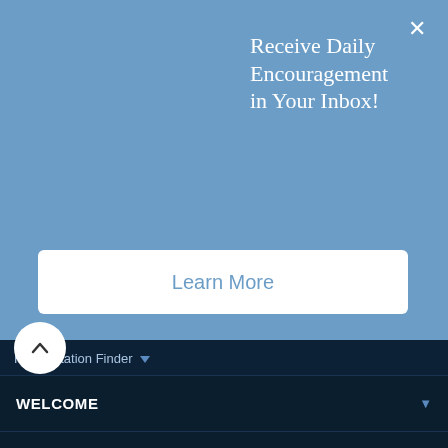Receive Daily Encouragement in Your Inbox!
Learn More
Radio Station Finder ▼
WELCOME
OUR RESOURCES
DONATE
INSIGHTS DELIVERED TO YOUR INBOX
First Name*
Last Name*